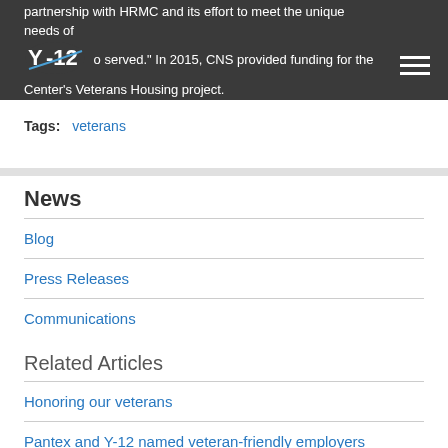partnership with HRMC and its effort to meet the unique needs of those served. In 2015, CNS provided funding for the Center's Veterans Housing project.
Tags: veterans
News
Blog
Press Releases
Communications
Related Articles
Honoring our veterans
Pantex and Y-12 named veteran-friendly employers
SRO graduate's unique perspective helps create class excellence